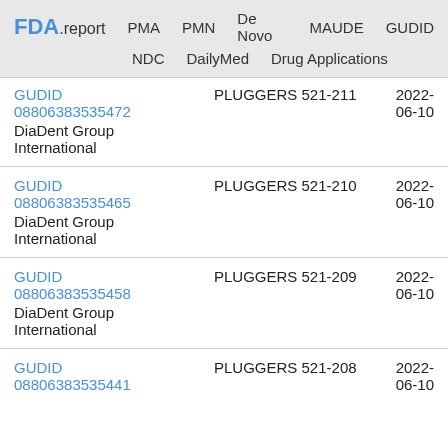FDA.report  PMA  PMN  De Novo  MAUDE  GUDID  NDC  DailyMed  Drug Applications
| ID / Company | Product Name | Date |
| --- | --- | --- |
| GUDID 08806383535472 DiaDent Group International | PLUGGERS 521-211 (partial) | 2022-06-10 |
| GUDID 08806383535465 DiaDent Group International | PLUGGERS 521-210 | 2022-06-10 |
| GUDID 08806383535458 DiaDent Group International | PLUGGERS 521-209 | 2022-06-10 |
| GUDID 08806383535441 | PLUGGERS 521-208 | 2022-06-10 |